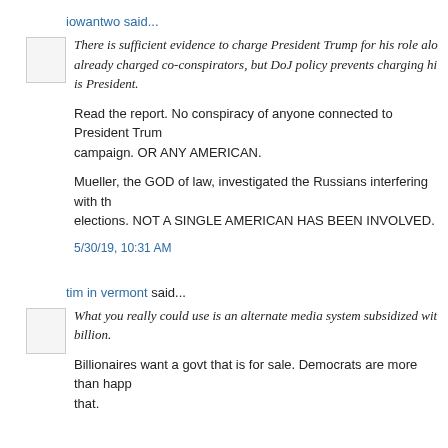iowantwo said...
There is sufficient evidence to charge President Trump for his role alo already charged co-conspirators, but DoJ policy prevents charging hi is President.
Read the report. No conspiracy of anyone connected to President Trum campaign. OR ANY AMERICAN.
Mueller, the GOD of law, investigated the Russians interfering with th elections. NOT A SINGLE AMERICAN HAS BEEN INVOLVED.
5/30/19, 10:31 AM
tim in vermont said...
What you really could use is an alternate media system subsidized wit billion.
Billionaires want a govt that is for sale. Democrats are more than happ that.